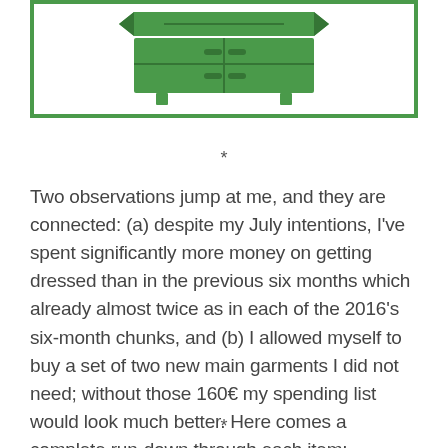[Figure (illustration): Green illustration of a dresser/chest of drawers with a banner ribbon, inside a green-bordered rectangle]
*
Two observations jump at me, and they are connected: (a) despite my July intentions, I've spent significantly more money on getting dressed than in the previous six months which already almost twice as in each of the 2016's six-month chunks, and (b) I allowed myself to buy a set of two new main garments I did not need; without those 160€ my spending list would look much better. Here comes a complete run-down through each item:
*